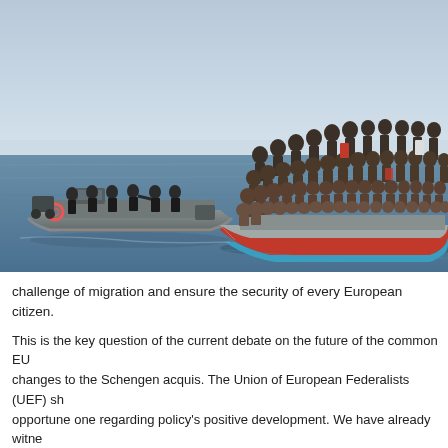[Figure (photo): Two inflatable rigid hull boats on calm open water. A smaller patrol boat on the left carries several people in dark uniforms/authorities. A much larger overcrowded boat on the right is packed with hundreds of migrants/refugees.]
challenge of migration and ensure the security of every European citizen.
This is the key question of the current debate on the future of the common EU changes to the Schengen acquis. The Union of European Federalists (UEF) sh opportune one regarding policy's positive development. We have already witne demonstrated by the concrete measures of their national authorities. As we ma internal border control undertaken by Denmark, which is also being considered These actions are integration reversal! Contrary to any nation-centric approach